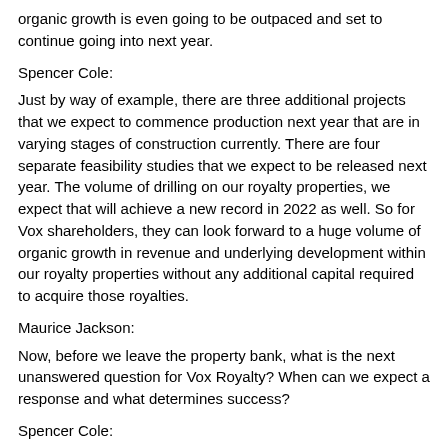organic growth is even going to be outpaced and set to continue going into next year.
Spencer Cole:
Just by way of example, there are three additional projects that we expect to commence production next year that are in varying stages of construction currently. There are four separate feasibility studies that we expect to be released next year. The volume of drilling on our royalty properties, we expect that will achieve a new record in 2022 as well. So for Vox shareholders, they can look forward to a huge volume of organic growth in revenue and underlying development within our royalty properties without any additional capital required to acquire those royalties.
Maurice Jackson:
Now, before we leave the property bank, what is the next unanswered question for Vox Royalty? When can we expect a response and what determines success?
Spencer Cole:
I think as we touched on in our last interview, I think the main catalysts that investors continue to be excited about in Vox is just the organic growth within our portfolio and what that means for our